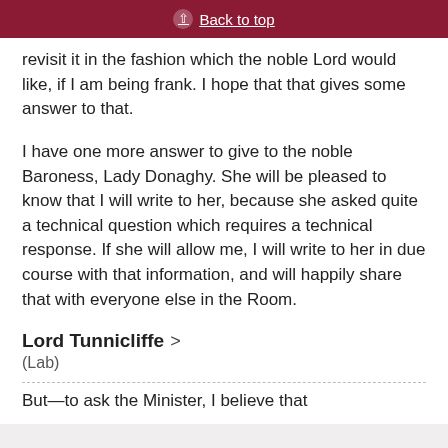Back to top
revisit it in the fashion which the noble Lord would like, if I am being frank. I hope that that gives some answer to that.
I have one more answer to give to the noble Baroness, Lady Donaghy. She will be pleased to know that I will write to her, because she asked quite a technical question which requires a technical response. If she will allow me, I will write to her in due course with that information, and will happily share that with everyone else in the Room.
Lord Tunnicliffe
(Lab)
But—to ask the Minister, I believe that